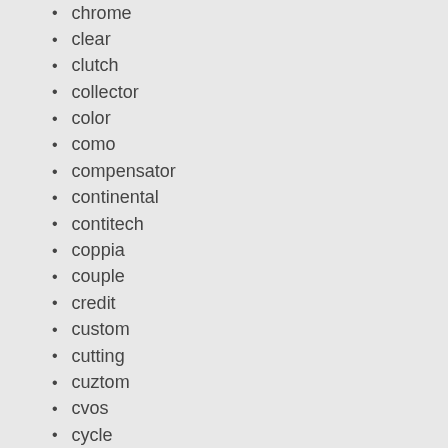chrome
clear
clutch
collector
color
como
compensator
continental
contitech
coppia
couple
credit
custom
cutting
cuztom
cvos
cycle
daytona
deagostini
deal
dealership